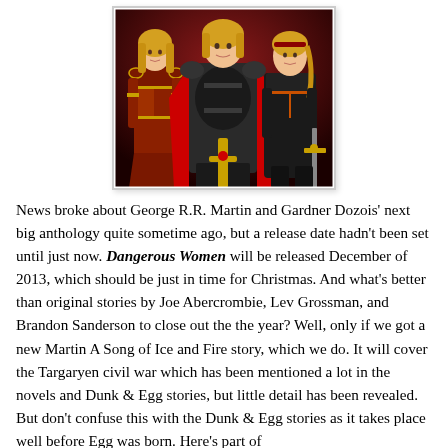[Figure (illustration): Fantasy illustration showing three figures: a woman in red armor on the left, a man in dark armor with a red cape in the center, and a woman in black with a sword on the right, all with blonde hair against a dark red background.]
News broke about George R.R. Martin and Gardner Dozois' next big anthology quite sometime ago, but a release date hadn't been set until just now. Dangerous Women will be released December of 2013, which should be just in time for Christmas. And what's better than original stories by Joe Abercrombie, Lev Grossman, and Brandon Sanderson to close out the the year? Well, only if we got a new Martin A Song of Ice and Fire story, which we do. It will cover the Targaryen civil war which has been mentioned a lot in the novels and Dunk & Egg stories, but little detail has been revealed. But don't confuse this with the Dunk & Egg stories as it takes place well before Egg was born. Here's part of Martin's announcement for more from the book that...